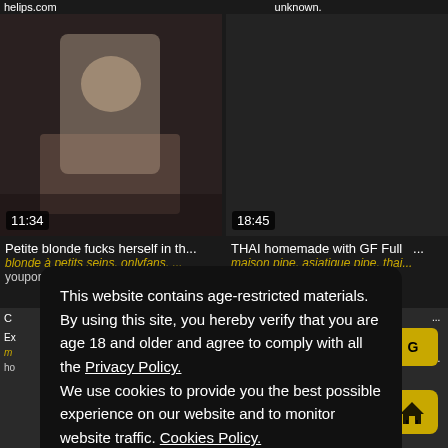helips.com
unknown.
[Figure (photo): Video thumbnail showing a woman in a vehicle, duration badge 11:34]
[Figure (photo): Dark video thumbnail with duration badge 18:45]
Petite blonde fucks herself in th...
blonde à petits seins, onlyfans, ...
youporn.com
THAI homemade with GF Full ...
maison pipe, asiatique pipe, thai...
youporn.com
This website contains age-restricted materials. By using this site, you hereby verify that you are age 18 and older and agree to comply with all the Privacy Policy. We use cookies to provide you the best possible experience on our website and to monitor website traffic. Cookies Policy.